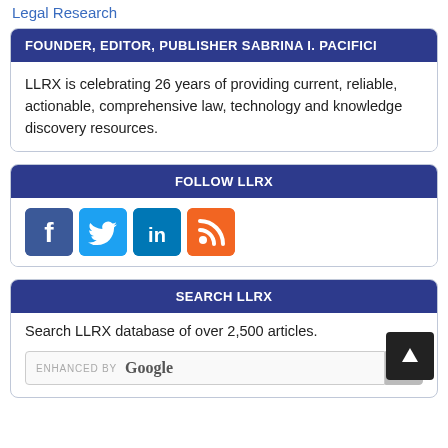Legal Research
FOUNDER, EDITOR, PUBLISHER SABRINA I. PACIFICI
LLRX is celebrating 26 years of providing current, reliable, actionable, comprehensive law, technology and knowledge discovery resources.
FOLLOW LLRX
[Figure (infographic): Four social media icons: Facebook (blue), Twitter (light blue), LinkedIn (blue), RSS (orange)]
SEARCH LLRX
Search LLRX database of over 2,500 articles.
ENHANCED BY Google